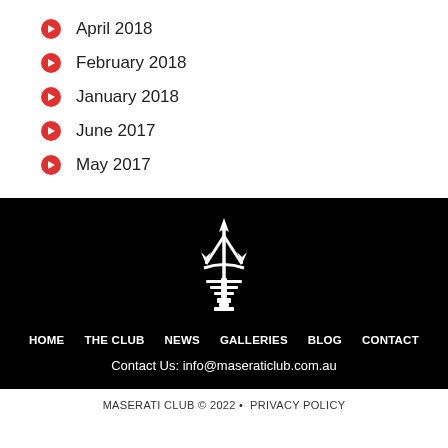April 2018
February 2018
January 2018
June 2017
May 2017
[Figure (logo): Maserati trident logo in white on black background]
HOME  THE CLUB  NEWS  GALLERIES  BLOG  CONTACT
Contact Us: info@maseraticlub.com.au
MASERATI CLUB © 2022 • PRIVACY POLICY